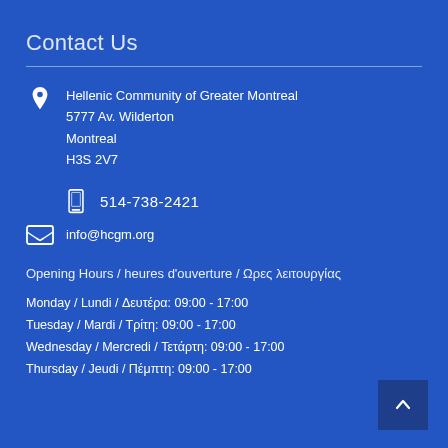Contact Us
Hellenic Community of Greater Montreal
5777 Av. Wilderton
Montreal
H3S 2V7
514-738-2421
info@hcgm.org
Opening Hours / heures d'ouverture / Ωρες λειτουργίας
Monday / Lundi / Δευτέρα: 09:00 - 17:00
Tuesday / Mardi / Τρίτη: 09:00 - 17:00
Wednesday / Mercredi / Τετάρτη: 09:00 - 17:00
Thursday / Jeudi / Πέμπτη: 09:00 - 17:00